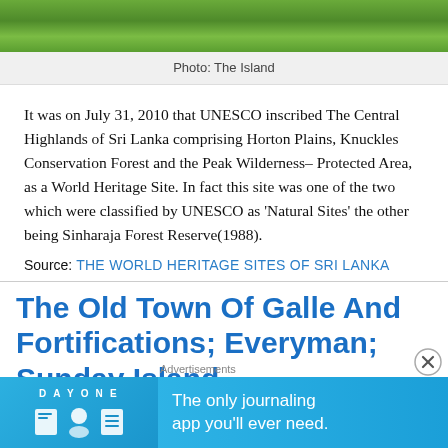[Figure (photo): Green grass and vegetation landscape photo strip at top of page]
Photo: The Island
It was on July 31, 2010 that UNESCO inscribed The Central Highlands of Sri Lanka comprising Horton Plains, Knuckles Conservation Forest and the Peak Wilderness– Protected Area, as a World Heritage Site. In fact this site was one of the two which were classified by UNESCO as 'Natural Sites' the other being Sinharaja Forest Reserve(1988).
Source: THE WORLD HERITAGE SITES OF SRI LANKA
The Old Town Of Galle And Fortifications; Everyman; Sunday Island
[Figure (other): DayOne journaling app advertisement banner with blue background, app icons, and text: The only journaling app you'll ever need.]